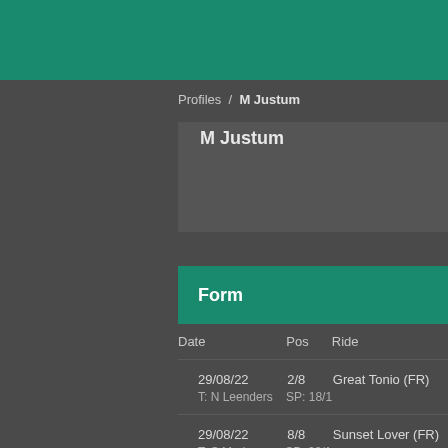Profiles / M Justum
M Justum
Form
| Date | Pos | Ride |
| --- | --- | --- |
| 29/08/22 | 2/8 | Great Tonio (FR) | T: N Leenders | SP: 18/1 |
| 29/08/22 | 8/8 | Sunset Lover (FR) | T: S Morineau | SP: 28/1 |
| 25/08/22 | 9/10 | Irish Storm (FR) |  |  |